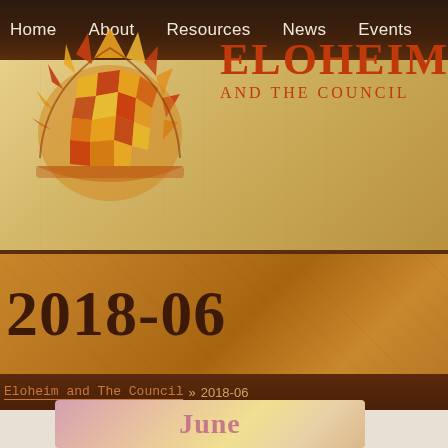Home    About    Resources    News    Events
[Figure (logo): Eloheim and The Council sunburst mosaic logo with geometric triangular pieces in red, orange, and yellow forming a rising sun shape]
ELOHEIM AND THE COUNCIL
2018-06
Eloheim and The Council » 2018-06
[Figure (illustration): Soft pink, peach and golden gradient background image card showing the word June in mauve/rose colored serif font]